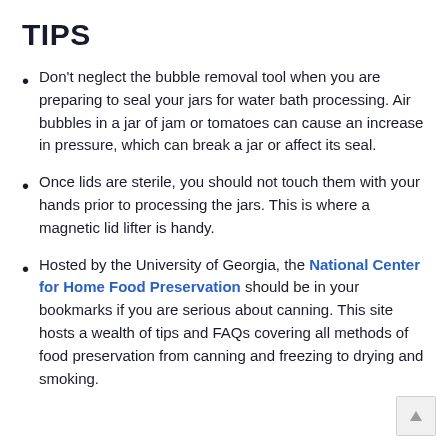TIPS
Don't neglect the bubble removal tool when you are preparing to seal your jars for water bath processing. Air bubbles in a jar of jam or tomatoes can cause an increase in pressure, which can break a jar or affect its seal.
Once lids are sterile, you should not touch them with your hands prior to processing the jars. This is where a magnetic lid lifter is handy.
Hosted by the University of Georgia, the National Center for Home Food Preservation should be in your bookmarks if you are serious about canning. This site hosts a wealth of tips and FAQs covering all methods of food preservation from canning and freezing to drying and smoking.